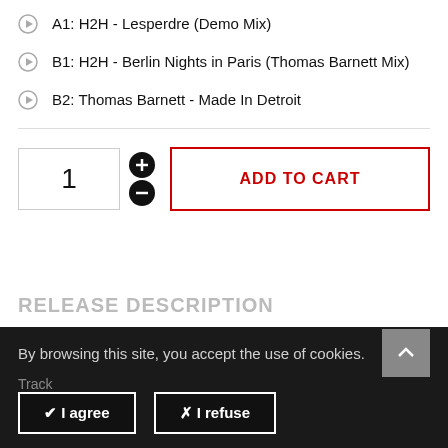A1: H2H - Lesperdre (Demo Mix)
B1: H2H - Berlin Nights in Paris (Thomas Barnett Mix)
B2: Thomas Barnett - Made In Detroit
1
ADD TO CART
RELEASE DESCRIPTION
By browsing this site, you accept the use of cookies.
Track
✔ I agree
✗ I refuse